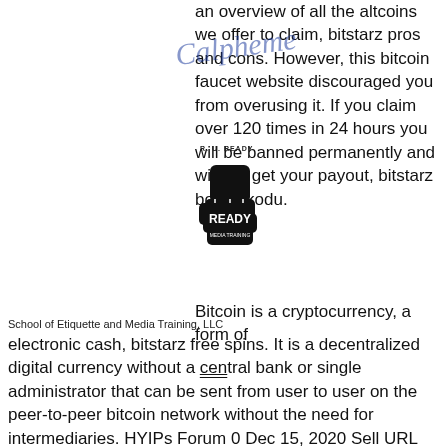an overview of all the altcoins we offer to claim, bitstarz pros and cons. However, this bitcoin faucet website discouraged you from overusing it. If you claim over 120 times in 24 hours you will be banned permanently and will not get your payout, bitstarz bonus kodu. Bitcoin is a cryptocurrency, a form of electronic cash, bitstarz free spins. It is a decentralized digital currency without a central bank or single administrator that can be sent from user to user on the peer-to-peer bitcoin network without the need for intermediaries. HYIPs Forum 0 Dec 15, 2020 Sell URL Shortener Website for Sale Buy / Sell / Trade 3 Dec 13, 2020 S good website Introductions 0 Dec 11, 2020 R I'm Robart, I'm new This Website. Introductions 1 Dec 10, 2020 R I'm new this website, follow me to earn more money, bitstarz no deposit bonus australia. If you refer your friends after signing up , you will get 50% of whatever they win in addition to getting free lottery
[Figure (logo): Calligraphic watermark text overlaid on the page, with a 'R U READY' fist logo watermark below it, and 'School of Etiquette and Media Training, LLC' text.]